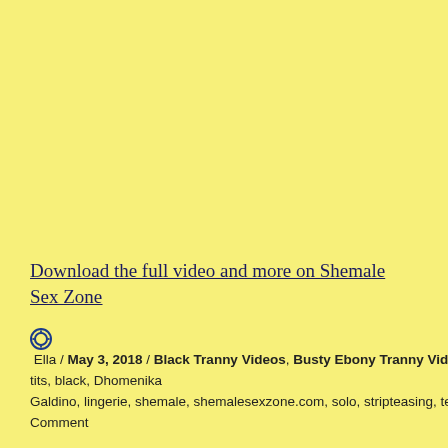Download the full video and more on Shemale Sex Zone
Ella / May 3, 2018 / Black Tranny Videos, Busty Ebony Tranny Videos / big tits, black, Dhomenika Galdino, lingerie, shemale, shemalesexzone.com, solo, stripteasing, teasing / 1 Comment
Hung Tgirl Fucking Her